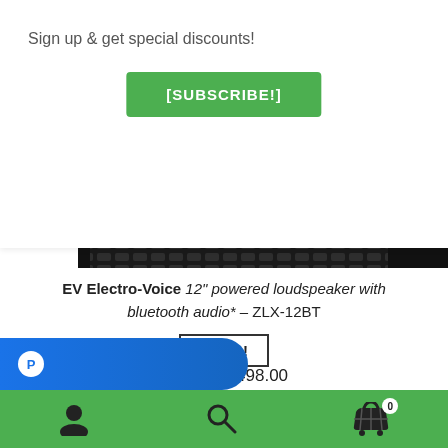Sign up & get special discounts!
[SUBSCRIBE!]
[Figure (photo): Close-up of EV Electro-Voice speaker grille with EV logo badge, black metallic mesh texture]
EV Electro-Voice 12" powered loudspeaker with bluetooth audio* – ZLX-12BT
SALE!
$499.00  $498.00
Add to cart